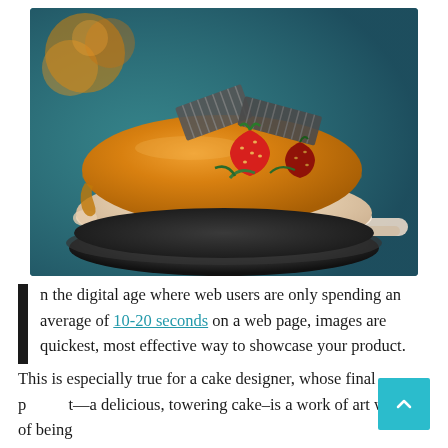[Figure (photo): A beautifully decorated cake with a smooth orange/caramel mirror glaze on a white mousse layer, topped with chocolate wafer decorations and strawberries, sitting on a dark metal stand, photographed against a teal background with orange flowers.]
n the digital age where web users are only spending an average of 10-20 seconds on a web page, images are quickest, most effective way to showcase your product. This is especially true for a cake designer, whose final product—a delicious, towering cake—is a work of art worthy of being